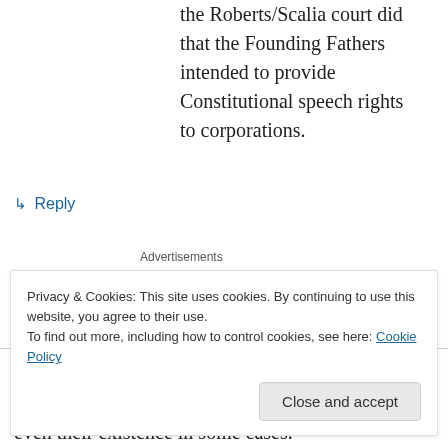the Roberts/Scalia court did that the Founding Fathers intended to provide Constitutional speech rights to corporations.
↳ Reply
Advertisements
[Figure (logo): Automattic logo with tagline: Build a better web and a better world.]
REPORT THIS AD
TokyoTom on February 11, 2010 at 1:20 am
Privacy & Cookies: This site uses cookies. By continuing to use this website, you agree to their use.
To find out more, including how to control cookies, see here: Cookie Policy
Close and accept
even their existence in some cases.